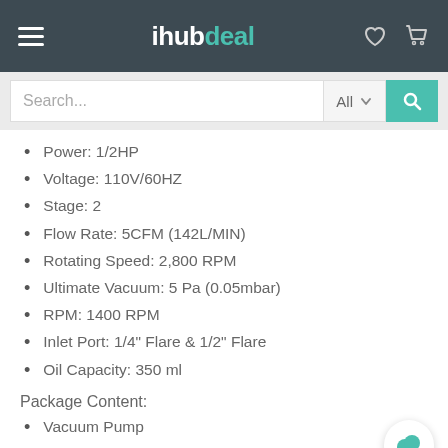ihubdeal — navigation header with hamburger menu, logo, heart and cart icons
[Figure (screenshot): Search bar with text input 'Search...', All dropdown, and teal search button]
Power: 1/2HP
Voltage: 110V/60HZ
Stage: 2
Flow Rate: 5CFM (142L/MIN)
Rotating Speed: 2,800 RPM
Ultimate Vacuum: 5 Pa (0.05mbar)
RPM: 1400 RPM
Inlet Port: 1/4" Flare & 1/2" Flare
Oil Capacity: 350 ml
Package Content:
Vacuum Pump